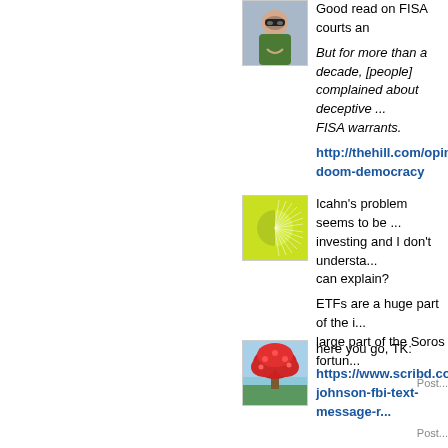[Figure (photo): Avatar image of a person wearing sunglasses and raising arms]
Good read on FISA courts an...
But for more than a decade, [people] complained about deceptive ... FISA warrants.
http://thehill.com/opinion/c... doom-democracy
[Figure (logo): Green sunburst/radial pattern logo on yellow-green background]
Icahn's problem seems to be ... investing and I don't understa... can explain?
ETFs are a huge part of the i... large part of the Soros fortun...
Post...
[Figure (photo): Photo of a red flowering tree (flamboyant/poinciana) near water]
here you go, TK:
https://www.scribd.com/do... johnson-fbi-text-message-r...
Post...